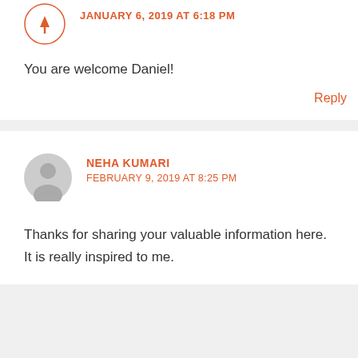JANUARY 6, 2019 AT 6:18 PM
You are welcome Daniel!
Reply
NEHA KUMARI
FEBRUARY 9, 2019 AT 8:25 PM
Thanks for sharing your valuable information here. It is really inspired to me.